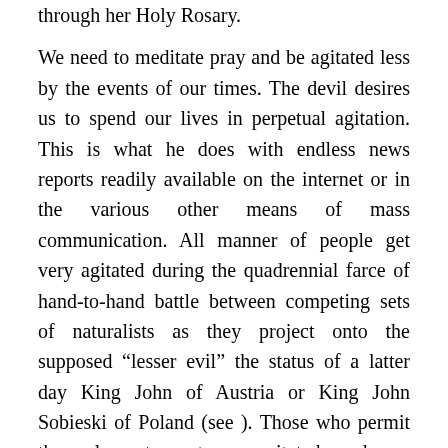through her Holy Rosary.
We need to meditate pray and be agitated less by the events of our times. The devil desires us to spend our lives in perpetual agitation. This is what he does with endless news reports readily available on the internet or in the various other means of mass communication. All manner of people get very agitated during the quadrennial farce of hand-to-hand battle between competing sets of naturalists as they project onto the supposed “lesser evil” the status of a latter day King John of Austria or King John Sobieski of Poland (see ). Those who permit themselves to get so agitated and are permitting their souls to be needlessly agitated. We need to pray more and talk, including internet chatter, less.